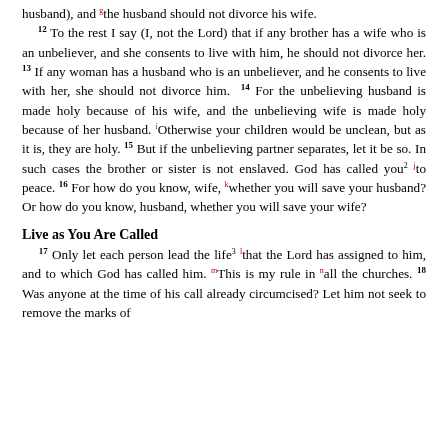husband), and the husband should not divorce his wife. 12 To the rest I say (I, not the Lord) that if any brother has a wife who is an unbeliever, and she consents to live with him, he should not divorce her. 13 If any woman has a husband who is an unbeliever, and he consents to live with her, she should not divorce him. 14 For the unbelieving husband is made holy because of his wife, and the unbelieving wife is made holy because of her husband. Otherwise your children would be unclean, but as it is, they are holy. 15 But if the unbelieving partner separates, let it be so. In such cases the brother or sister is not enslaved. God has called you to peace. 16 For how do you know, wife, whether you will save your husband? Or how do you know, husband, whether you will save your wife?
Live as You Are Called
17 Only let each person lead the life that the Lord has assigned to him, and to which God has called him. This is my rule in all the churches. 18 Was anyone at the time of his call already circumcised? Let him not seek to remove the marks of